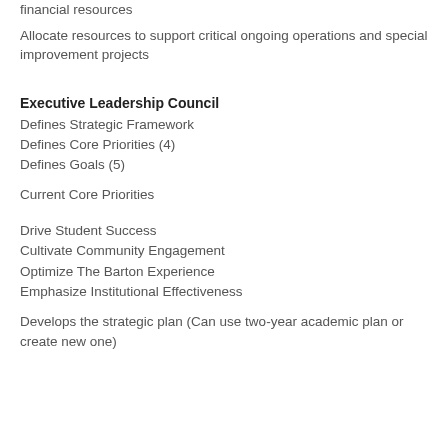financial resources
Allocate resources to support critical ongoing operations and special improvement projects
Executive Leadership Council
Defines Strategic Framework
Defines Core Priorities (4)
Defines Goals (5)
Current Core Priorities
Drive Student Success
Cultivate Community Engagement
Optimize The Barton Experience
Emphasize Institutional Effectiveness
Develops the strategic plan (Can use two-year academic plan or create new one)